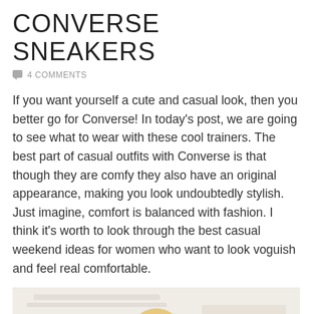CONVERSE SNEAKERS
4 COMMENTS
If you want yourself a cute and casual look, then you better go for Converse! In today's post, we are going to see what to wear with these cool trainers. The best part of casual outfits with Converse is that though they are comfy they also have an original appearance, making you look undoubtedly stylish. Just imagine, comfort is balanced with fashion. I think it's worth to look through the best casual weekend ideas for women who want to look voguish and feel real comfortable.
[Figure (photo): Photo of a blonde woman outdoors, partially visible from shoulders up, with a light background.]